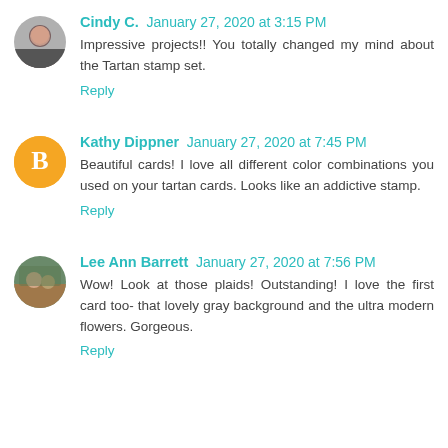Cindy C. January 27, 2020 at 3:15 PM
Impressive projects!! You totally changed my mind about the Tartan stamp set.
Reply
Kathy Dippner January 27, 2020 at 7:45 PM
Beautiful cards! I love all different color combinations you used on your tartan cards. Looks like an addictive stamp.
Reply
Lee Ann Barrett January 27, 2020 at 7:56 PM
Wow! Look at those plaids! Outstanding! I love the first card too- that lovely gray background and the ultra modern flowers. Gorgeous.
Reply